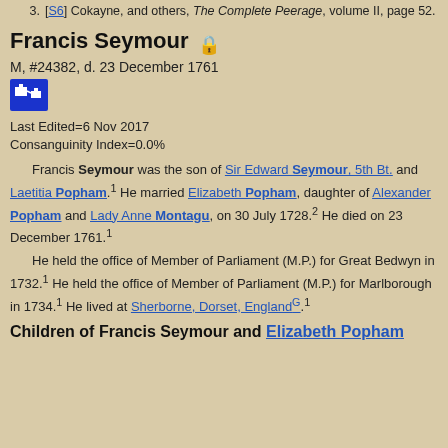3. [S6] Cokayne, and others, The Complete Peerage, volume II, page 52.
Francis Seymour 🔒
M, #24382, d. 23 December 1761
Last Edited=6 Nov 2017
Consanguinity Index=0.0%
Francis Seymour was the son of Sir Edward Seymour, 5th Bt. and Laetitia Popham.1 He married Elizabeth Popham, daughter of Alexander Popham and Lady Anne Montagu, on 30 July 1728.2 He died on 23 December 1761.1
He held the office of Member of Parliament (M.P.) for Great Bedwyn in 1732.1 He held the office of Member of Parliament (M.P.) for Marlborough in 1734.1 He lived at Sherborne, Dorset, EnglandG.1
Children of Francis Seymour and Elizabeth Popham